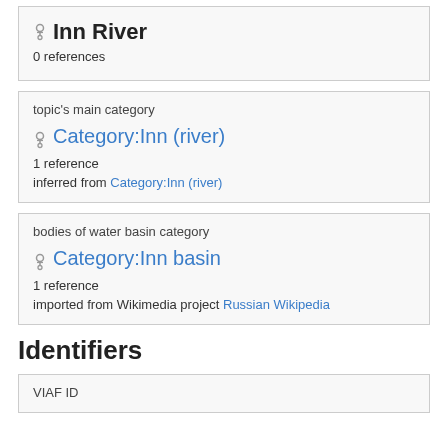Inn River
0 references
topic's main category
Category:Inn (river)
1 reference
inferred from Category:Inn (river)
bodies of water basin category
Category:Inn basin
1 reference
imported from Wikimedia project Russian Wikipedia
Identifiers
VIAF ID